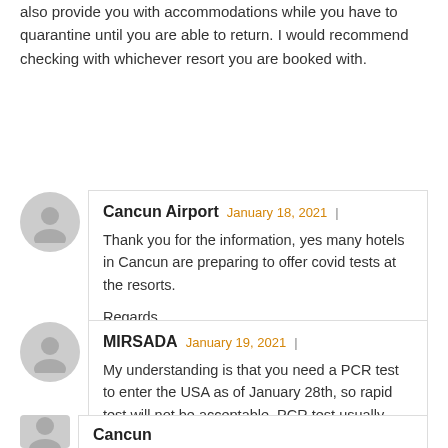also provide you with accommodations while you have to quarantine until you are able to return. I would recommend checking with whichever resort you are booked with.
Cancun Airport  January 18, 2021 |
Thank you for the information, yes many hotels in Cancun are preparing to offer covid tests at the resorts.

Regards,
MIRSADA  January 19, 2021 |
My understanding is that you need a PCR test to enter the USA as of January 28th, so rapid test will not be acceptable. PCR test usually takes 24 to 48 hours.
Cancun